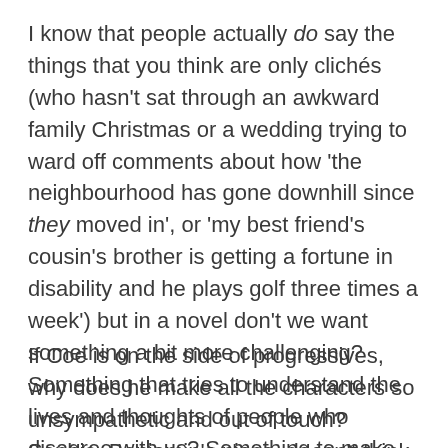I know that people actually do say the things that you think are only clichés (who hasn't sat through an awkward family Christmas or a wedding trying to ward off comments about how 'the neighbourhood has gone downhill since they moved in', or 'my best friend's cousin's brother is getting a fortune in disability and he plays golf three times a week') but in a novel don't we want something a bit more challenging? Something that tries to understand the lives and thoughts of people who disagree with us? Something to make us consider the bigger forces that led us to this point?
If Coe is on the side of progressives, why does he make all the characters so unsympathetic and out of touch? Sophie, Benjamin's niece, doesn't think racism is a thing in one chapter, then in the